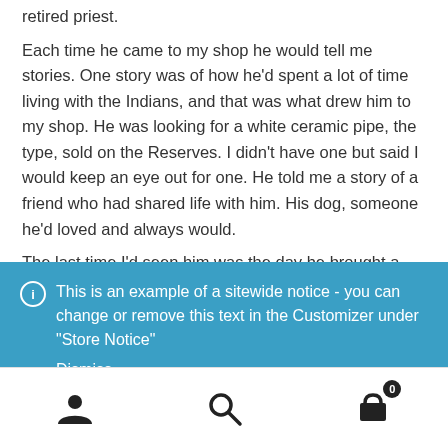retired priest. Each time he came to my shop he would tell me stories. One story was of how he'd spent a lot of time living with the Indians, and that was what drew him to my shop. He was looking for a white ceramic pipe, the type, sold on the Reserves. I didn't have one but said I would keep an eye out for one. He told me a story of a friend who had shared life with him. His dog, someone he'd loved and always would. The last time I'd seen him was the day he brought a large,
ⓘ This is an example of a sitewide notice - you can change or remove this text in the Customizer under "Store Notice"
Dismiss
[user icon] [search icon] [cart icon with 0]